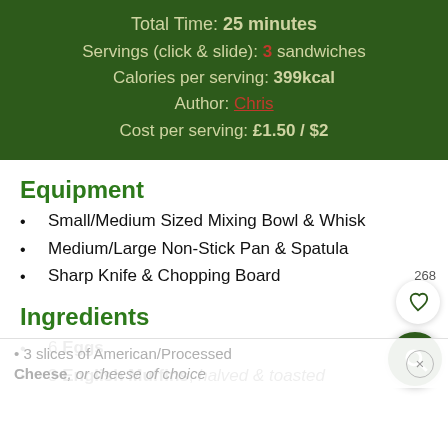Total Time: 25 minutes
Servings (click & slide): 3 sandwiches
Calories per serving: 399kcal
Author: Chris
Cost per serving: £1.50 / $2
Equipment
Small/Medium Sized Mixing Bowl & Whisk
Medium/Large Non-Stick Pan & Spatula
Sharp Knife & Chopping Board
Ingredients
6 Eggs
3 English Muffins, halved & toasted
3 slices of American/Processed Cheese, or cheese of choice